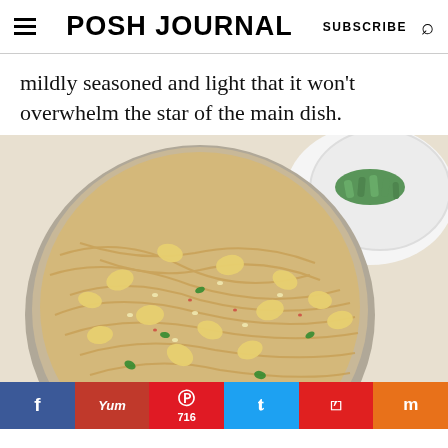POSH JOURNAL   SUBSCRIBE
mildly seasoned and light that it won't overwhelm the star of the main dish.
[Figure (photo): Overhead close-up photo of a pan of bean sprout noodles with peanuts, sesame seeds, and sliced green onions, with a small plate of green onions visible in the top right corner.]
f   Yum   716   t   F   m